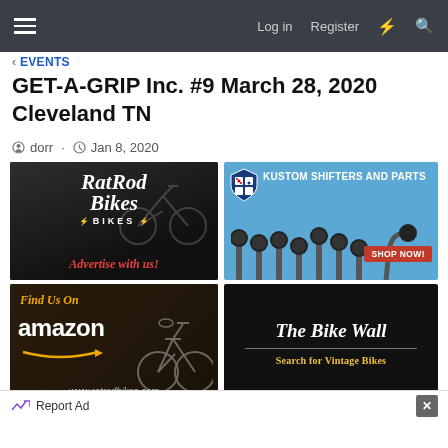☰  Log in  Register  ⚡ 🔍
< EVENTS
GET-A-GRIP Inc. #9 March 28, 2020 Cleveland TN
dorr · Jan 8, 2020
[Figure (photo): Rat Rod Bikes advertisement - 'Advertise with us!']
[Figure (photo): Boxxars Kustom Shifters and Parts - 'Shop Now!']
[Figure (photo): Find Us On Amazon - www.ratrodbikes.com advertisement]
[Figure (photo): The Bike Wall - Search for Vintage Bikes advertisement]
Report Ad